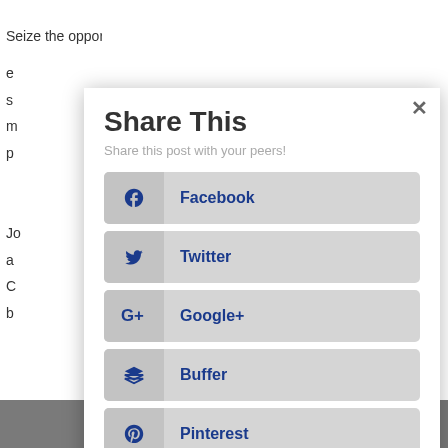Seize the opportunity to gather with fellow BPM e s m p
Jo a C b
[Figure (screenshot): Share This modal dialog with social sharing buttons: Facebook, Twitter, Google+, Buffer, Pinterest, LinkedIn. Modal has a close (x) button in top right corner. Subtitle reads: Share this post with your peers!]
x (close button in bottom right gray bar)